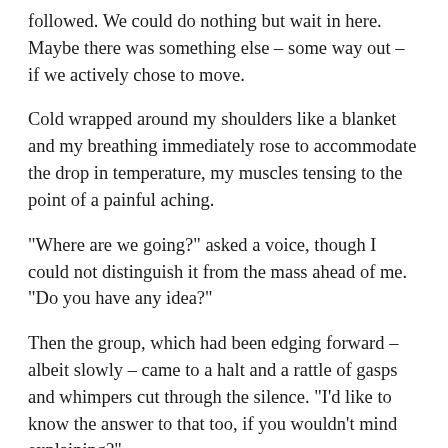followed. We could do nothing but wait in here. Maybe there was something else – some way out – if we actively chose to move.
Cold wrapped around my shoulders like a blanket and my breathing immediately rose to accommodate the drop in temperature, my muscles tensing to the point of a painful aching.
“Where are we going?” asked a voice, though I could not distinguish it from the mass ahead of me. “Do you have any idea?”
Then the group, which had been edging forward – albeit slowly – came to a halt and a rattle of gasps and whimpers cut through the silence. “I’d like to know the answer to that too, if you wouldn’t mind explaining?”
The voice was male – adult male. There were more footsteps, though these were softer on the concrete